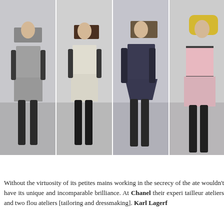[Figure (photo): Four fashion runway models walking in a neutral-toned studio setting. Model 1 wears a grey tweed jacket and skirt with dark long gloves and black over-the-knee boots. Model 2 wears a cream/white tweed suit with dark gloves and black over-the-knee boots. Model 3 wears a navy blue textured mini dress with dark long gloves and dark over-the-knee boots. Model 4 wears a pale pink structured dress with dark trim and floral skirt, with black boots.]
Without the virtuosity of its petites mains working in the secrecy of the at... wouldn't have its unique and incomparable brilliance. At Chanel their exper... tailleur ateliers and two flou ateliers [tailoring and dressmaking]. Karl Lagerf...